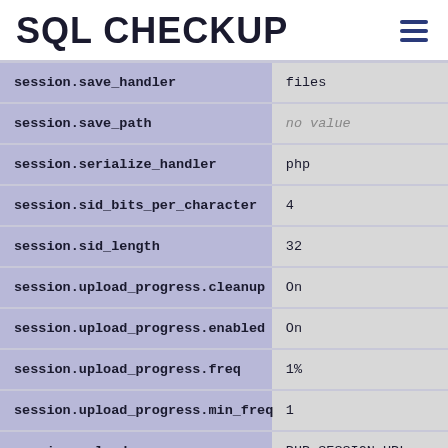SQL CHECKUP
| Setting | Value |
| --- | --- |
| session.save_handler | files |
| session.save_path | no value |
| session.serialize_handler | php |
| session.sid_bits_per_character | 4 |
| session.sid_length | 32 |
| session.upload_progress.cleanup | On |
| session.upload_progress.enabled | On |
| session.upload_progress.freq | 1% |
| session.upload_progress.min_freq | 1 |
| session.upload_progress.name | PHP_SESSION_UPL... |
| session.upload_progress.prefix | upload_progress_ |